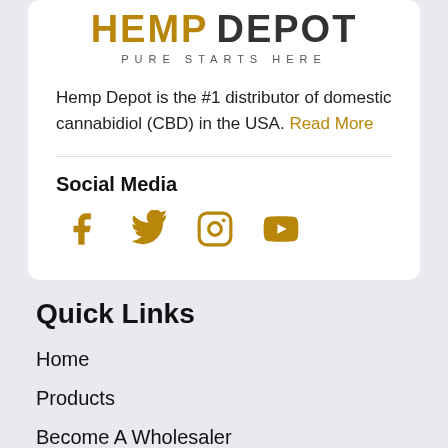[Figure (logo): Hemp Depot logo with 'HEMP' in golden/brown color and 'DEPOT' in dark color, subtitle 'PURE STARTS HERE']
Hemp Depot is the #1 distributor of domestic cannabidiol (CBD) in the USA. Read More
Social Media
[Figure (illustration): Social media icons: Facebook, Twitter, Instagram, YouTube — all in golden/brown color]
Quick Links
Home
Products
Become A Wholesaler
Latest Media
About